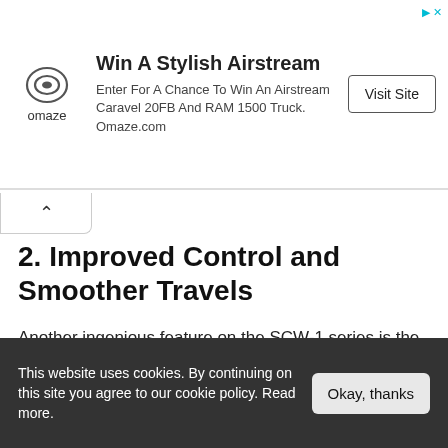[Figure (other): Omaze advertisement banner: logo, title 'Win A Stylish Airstream', body text 'Enter For A Chance To Win An Airstream Caravel 20FB And RAM 1500 Truck. Omaze.com', and a 'Visit Site' button]
2. Improved Control and Smoother Travels
Another ingenious feature on the SCW-1 series is the improved control it offers – thanks to its independent braking, steering and suspension systems.
The multifunctional tasking of telescoping forks take its toll on the suspension system and make it almost impossible for riders to brake on a steep descent and turn into corners without crashing.
This website uses cookies. By continuing on this site you agree to our cookie policy. Read more.